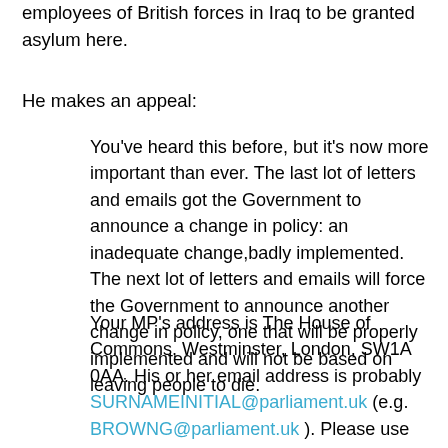employees of British forces in Iraq to be granted asylum here.
He makes an appeal:
You've heard this before, but it's now more important than ever. The last lot of letters and emails got the Government to announce a change in policy: an inadequate change,badly implemented. The next lot of letters and emails will force the Government to announce another change in policy, one that will be properly implemented and will not be based on leaving people to die.
Your MP's address is The House of Commons, Westminster, London, SW1A 0AA. His or her email address is probably SURNAMEINITIAL@parliament.uk (e.g. BROWNG@parliament.uk ). Please use the talking points below to send an email and a print letter to your MP, and chase them for an answer. And be courteous: an insulted MP will not raise